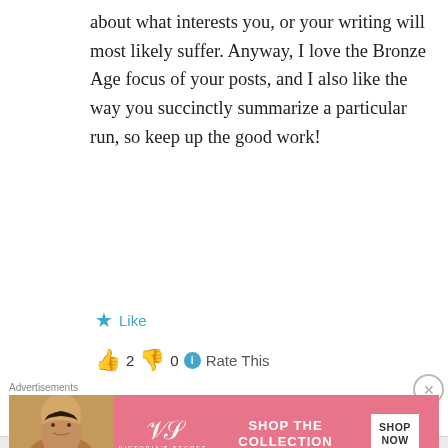about what interests you, or your writing will most likely suffer. Anyway, I love the Bronze Age focus of your posts, and I also like the way you succinctly summarize a particular run, so keep up the good work!
★ Like
👍 2  👎 0  ℹ Rate This
↪ Reply
Paul O'Connor on December 14, 2012 at 9:57 am
Advertisements
[Figure (illustration): Victoria's Secret advertisement banner with pink background showing a model, VS logo, text 'SHOP THE COLLECTION', and 'SHOP NOW' button]